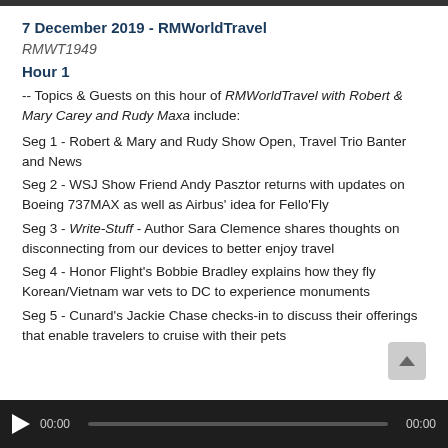7 December 2019 - RMWorldTravel
RMWT1949
Hour 1
-- Topics & Guests on this hour of RMWorldTravel with Robert & Mary Carey and Rudy Maxa include:
Seg 1 - Robert & Mary and Rudy Show Open, Travel Trio Banter and News
Seg 2 - WSJ Show Friend Andy Pasztor returns with updates on Boeing 737MAX as well as Airbus' idea for Fello'Fly
Seg 3 - Write-Stuff - Author Sara Clemence shares thoughts on disconnecting from our devices to better enjoy travel
Seg 4 - Honor Flight's Bobbie Bradley explains how they fly Korean/Vietnam war vets to DC to experience monuments
Seg 5 - Cunard's Jackie Chase checks-in to discuss their offerings that enable travelers to cruise with their pets
00:00  [audio player]  00:00